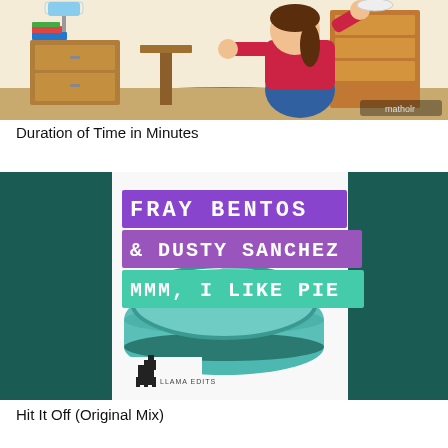[Figure (illustration): Cartoon illustration of a girl in a red top in a bedroom with furniture, lamp, bookshelf; 'matholr' watermark in bottom right]
Duration of Time in Minutes
[Figure (illustration): Album cover for 'MMM, I Like Pie' by Fray Bentos & Dusty Sanchez on Llama Edits label; dark teal sides with a pie dish in center on white background, colored text blocks overlay]
Hit It Off (Original Mix)